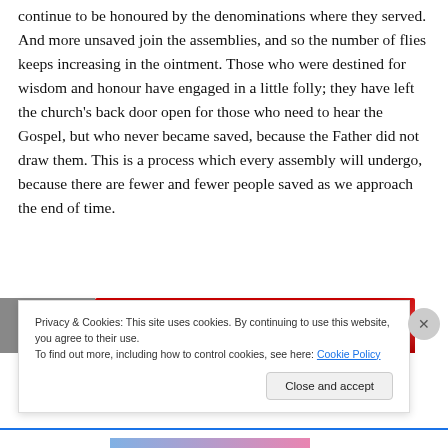continue to be honoured by the denominations where they served. And more unsaved join the assemblies, and so the number of flies keeps increasing in the ointment. Those who were destined for wisdom and honour have engaged in a little folly; they have left the church's back door open for those who need to hear the Gospel, but who never became saved, because the Father did not draw them. This is a process which every assembly will undergo, because there are fewer and fewer people saved as we approach the end of time.
[Figure (photo): Partial view of a red-colored object (appears to be a car or similar), partially obscured by a cookie consent overlay.]
Privacy & Cookies: This site uses cookies. By continuing to use this website, you agree to their use.
To find out more, including how to control cookies, see here: Cookie Policy